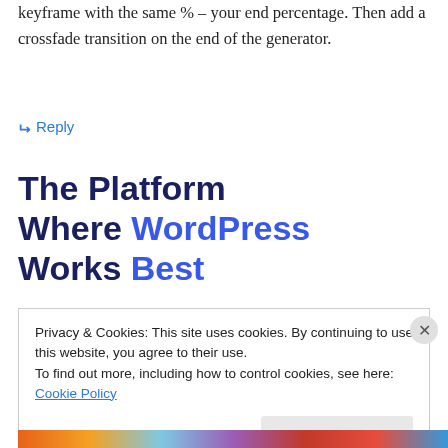keyframe with the same % – your end percentage. Then add a crossfade transition on the end of the generator.
↳ Reply
The Platform Where WordPress Works Best
Privacy & Cookies: This site uses cookies. By continuing to use this website, you agree to their use.
To find out more, including how to control cookies, see here: Cookie Policy
Close and accept